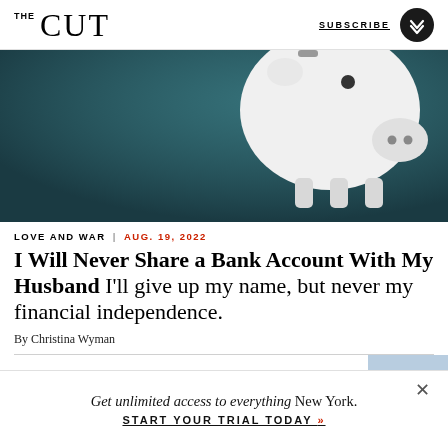THE CUT | SUBSCRIBE
[Figure (photo): Close-up photo of a white piggy bank on a dark teal background, viewed from above at an angle, showing the coin slot and snout.]
LOVE AND WAR | AUG. 19, 2022
I Will Never Share a Bank Account With My Husband I'll give up my name, but never my financial independence.
By Christina Wyman
Get unlimited access to everything New York. START YOUR TRIAL TODAY »